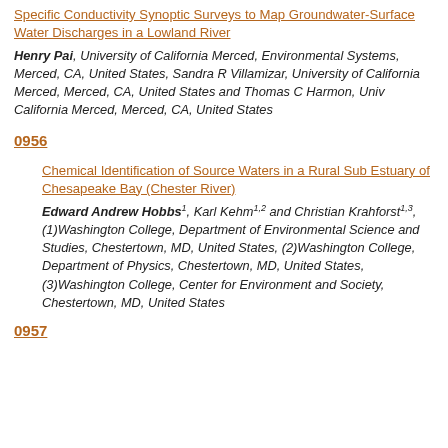Specific Conductivity Synoptic Surveys to Map Groundwater-Surface Water Discharges in a Lowland River
Henry Pai, University of California Merced, Environmental Systems, Merced, CA, United States, Sandra R Villamizar, University of California Merced, Merced, CA, United States and Thomas C Harmon, Univ California Merced, Merced, CA, United States
0956
Chemical Identification of Source Waters in a Rural Sub Estuary of Chesapeake Bay (Chester River)
Edward Andrew Hobbs1, Karl Kehm1,2 and Christian Krahforst1,3, (1)Washington College, Department of Environmental Science and Studies, Chestertown, MD, United States, (2)Washington College, Department of Physics, Chestertown, MD, United States, (3)Washington College, Center for Environment and Society, Chestertown, MD, United States
0957